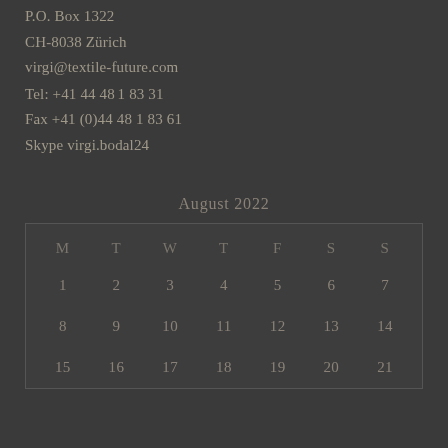P.O. Box 1322
CH-8038 Zürich
virgi@textile-future.com
Tel: +41 44 481 83 31
Fax +41 (0)44 481 83 61
Skype virgi.bodal24
August 2022
| M | T | W | T | F | S | S |
| --- | --- | --- | --- | --- | --- | --- |
| 1 | 2 | 3 | 4 | 5 | 6 | 7 |
| 8 | 9 | 10 | 11 | 12 | 13 | 14 |
| 15 | 16 | 17 | 18 | 19 | 20 | 21 |